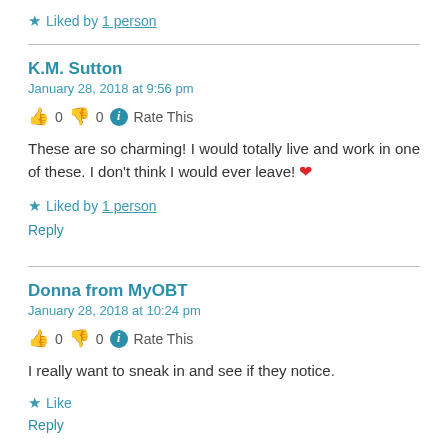★ Liked by 1 person
K.M. Sutton
January 28, 2018 at 9:56 pm
👍 0 👎 0 ℹ Rate This
These are so charming! I would totally live and work in one of these. I don't think I would ever leave! ❤
★ Liked by 1 person
Reply
Donna from MyOBT
January 28, 2018 at 10:24 pm
👍 0 👎 0 ℹ Rate This
I really want to sneak in and see if they notice.
★ Like
Reply